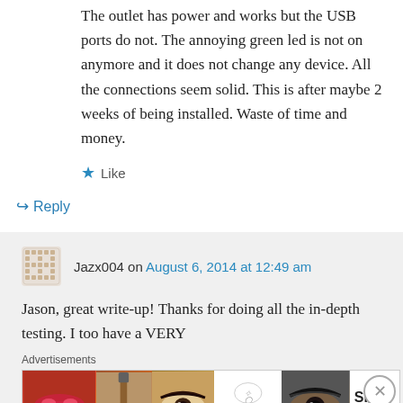The outlet has power and works but the USB ports do not. The annoying green led is not on anymore and it does not change any device. All the connections seem solid. This is after maybe 2 weeks of being installed. Waste of time and money.
★ Like
↪ Reply
Jazx004 on August 6, 2014 at 12:49 am
Jason, great write-up! Thanks for doing all the in-depth testing. I too have a VERY
Advertisements
[Figure (other): ULTA Beauty advertisement banner showing makeup close-ups (lips, brush, eye) and ULTA logo with SHOP NOW text]